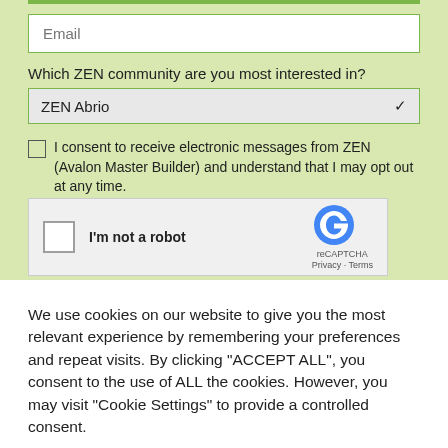Email
Which ZEN community are you most interested in?
ZEN Abrio
I consent to receive electronic messages from ZEN (Avalon Master Builder) and understand that I may opt out at any time.
[Figure (screenshot): reCAPTCHA widget with checkbox labeled I'm not a robot, reCAPTCHA logo, Privacy and Terms links]
We use cookies on our website to give you the most relevant experience by remembering your preferences and repeat visits. By clicking "ACCEPT ALL", you consent to the use of ALL the cookies. However, you may visit "Cookie Settings" to provide a controlled consent.
Cookie Settings
REJECT ALL
ACCEPT ALL